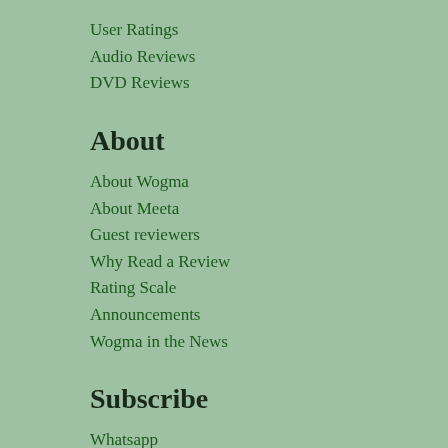User Ratings
Audio Reviews
DVD Reviews
About
About Wogma
About Meeta
Guest reviewers
Why Read a Review
Rating Scale
Announcements
Wogma in the News
Subscribe
Whatsapp
Newsletter
Twitter
Facebook
RSS
...and More